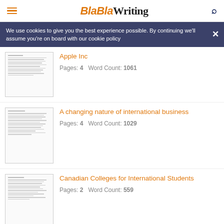BlaBlaWriting
We use cookies to give you the best experience possible. By continuing we'll assume you're on board with our cookie policy
Apple Inc
Pages: 4   Word Count: 1061
A changing nature of international business
Pages: 4   Word Count: 1029
Canadian Colleges for International Students
Pages: 2   Word Count: 559
International Law as an Instrument of Influence Between States
Pages: 2   Word Count: 596